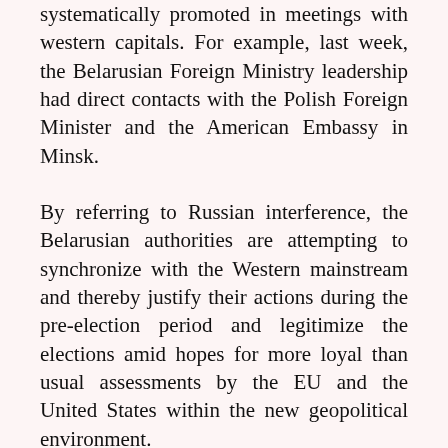systematically promoted in meetings with western capitals. For example, last week, the Belarusian Foreign Ministry leadership had direct contacts with the Polish Foreign Minister and the American Embassy in Minsk.
By referring to Russian interference, the Belarusian authorities are attempting to synchronize with the Western mainstream and thereby justify their actions during the pre-election period and legitimize the elections amid hopes for more loyal than usual assessments by the EU and the United States within the new geopolitical environment.
It is yet premature to judge the efficiency of such a strategy. So far, major Western media outlets (for example, BBC, Foreign Policy, The New York Times, Bloomberg), when covering